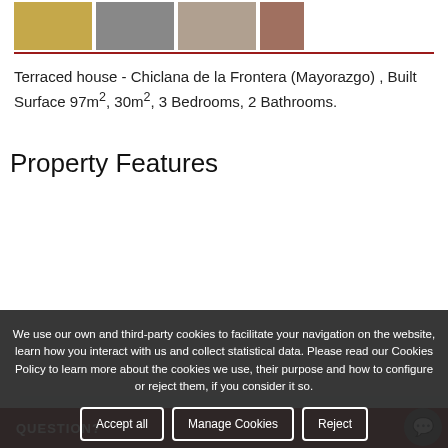[Figure (photo): Row of four property thumbnail photos at top of page]
Terraced house - Chiclana de la Frontera (Mayorazgo) , Built Surface 97m², 30m², 3 Bedrooms, 2 Bathrooms.
Property Features
|  |  |
| --- | --- |
| Reference | 4a256 |
| Type of Operation | For sale |
| Type of property | Terraced house |
| Area | 30 m² |
We use our own and third-party cookies to facilitate your navigation on the website, learn how you interact with us and collect statistical data. Please read our Cookies Policy to learn more about the cookies we use, their purpose and how to configure or reject them, if you consider it so.
Accept all   Manage Cookies   Reject
QUESTION?
Condition